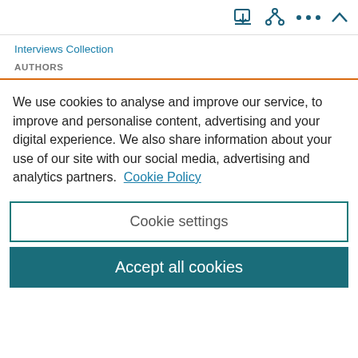[icons: download, share, more, collapse]
Interviews Collection
AUTHORS
We use cookies to analyse and improve our service, to improve and personalise content, advertising and your digital experience. We also share information about your use of our site with our social media, advertising and analytics partners.  Cookie Policy
Cookie settings
Accept all cookies